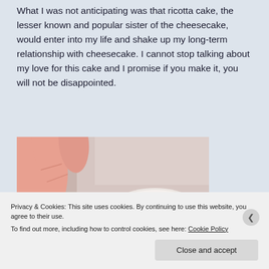What I was not anticipating was that ricotta cake, the lesser known and popular sister of the cheesecake, would enter into my life and shake up my long-term relationship with cheesecake. I cannot stop talking about my love for this cake and I promise if you make it, you will not be disappointed.
[Figure (photo): Close-up photo of fingers holding what appears to be a small baked item or nut, with a blurred light background and other small items visible.]
Privacy & Cookies: This site uses cookies. By continuing to use this website, you agree to their use. To find out more, including how to control cookies, see here: Cookie Policy